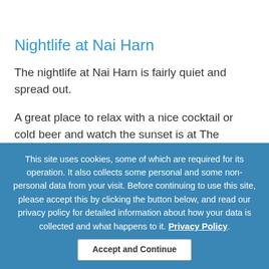Nightlife at Nai Harn
The nightlife at Nai Harn is fairly quiet and spread out.
A great place to relax with a nice cocktail or cold beer and watch the sunset is at The Reggae Bar, located next to Nai Harn Lake.
Other bars that we found near the 7- Eleven are the
This site uses cookies, some of which are required for its operation. It also collects some personal and some non-personal data from your visit. Before continuing to use this site, please accept this by clicking the button below, and read our privacy policy for detailed information about how your data is collected and what happens to it. Privacy Policy.